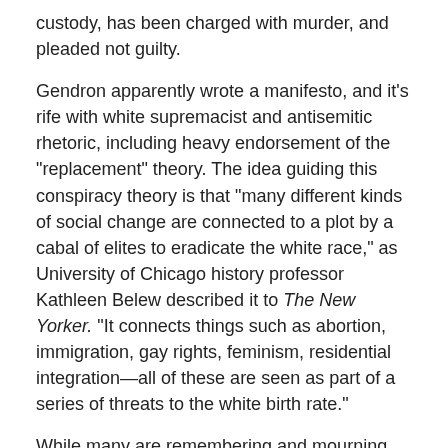custody, has been charged with murder, and pleaded not guilty.
Gendron apparently wrote a manifesto, and it's rife with white supremacist and antisemitic rhetoric, including heavy endorsement of the "replacement" theory. The idea guiding this conspiracy theory is that "many different kinds of social change are connected to a plot by a cabal of elites to eradicate the white race," as University of Chicago history professor Kathleen Belew described it to The New Yorker. "It connects things such as abortion, immigration, gay rights, feminism, residential integration—all of these are seen as part of a series of threats to the white birth rate."
While many are remembering and mourning the victims of Gendron's assault, some politicians and activists have been using the incident to score cheap political points and social media engagement. For instance:
"In his manifesto, the white supremacist mass shooter... reveals that he was motivated to do so by the 'white